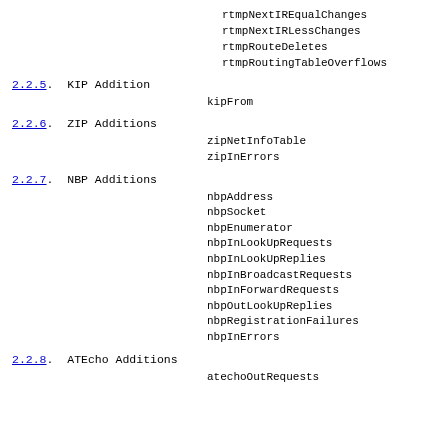rtmpNextIREqualChanges
rtmpNextIRLessChanges
rtmpRouteDeletes
rtmpRoutingTableOverflows
2.2.5.  KIP Addition
kipFrom
2.2.6.  ZIP Additions
zipNetInfoTable
zipInErrors
2.2.7.  NBP Additions
nbpAddress
nbpSocket
nbpEnumerator
nbpInLookUpRequests
nbpInLookUpReplies
nbpInBroadcastRequests
nbpInForwardRequests
nbpOutLookUpReplies
nbpRegistrationFailures
nbpInErrors
2.2.8.  ATEcho Additions
atechoOutRequests